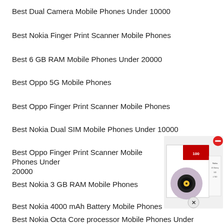Best Dual Camera Mobile Phones Under 10000
Best Nokia Finger Print Scanner Mobile Phones
Best 6 GB RAM Mobile Phones Under 20000
Best Oppo 5G Mobile Phones
Best Oppo Finger Print Scanner Mobile Phones
Best Nokia Dual SIM Mobile Phones Under 10000
Best Oppo Finger Print Scanner Mobile Phones Under 20000
Best Nokia 3 GB RAM Mobile Phones
Best Nokia 4000 mAh Battery Mobile Phones
[Figure (photo): Product advertisement image showing a smartwatch or phone camera module in a box with a red minus/remove button in corner and an X close button below]
Best Nokia Octa Core processor Mobile Phones Under 20000